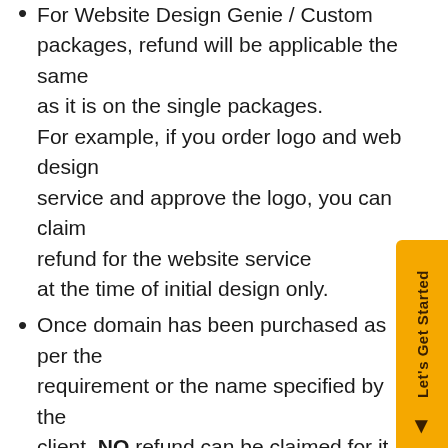For Website Design Genie / Custom packages, refund will be applicable the same as it is on the single packages. For example, if you order logo and web design service and approve the logo, you can claim refund for the website service at the time of initial design only.
Once domain has been purchased as per the requirement or the name specified by the client, NO refund can be claimed for it for the duration tat it has been purchased,
In case of hosting services, no refund can be made before the expiration of at least/minimum 1 year of services as the cost of this has already been incurred for an annual basis by website design genie.
In case the client wants the source code for any development work, they will be required to